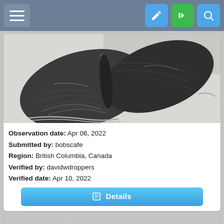[Figure (screenshot): Mobile app navigation bar with hamburger menu on left and edit, login, search buttons on right]
[Figure (photo): Close-up photograph of a dark grey moth with textured wings resting on a white surface]
Observation date: Apr 06, 2022
Submitted by: bobscafe
Region: British Columbia, Canada
Verified by: davidwdroppers
Verified date: Apr 10, 2022
[Figure (screenshot): Details button - blue rounded rectangle button with document icon and Details label]
[Figure (photo): Partial view of another moth observation card at bottom of screen]